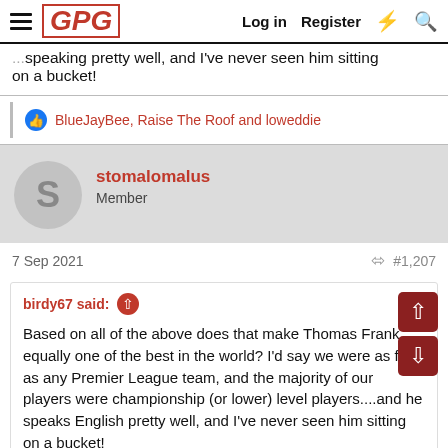GPG — Log in  Register
...speaking pretty well, and I've never seen him sitting on a bucket!
BlueJayBee, Raise The Roof and loweddie
stomalomalus
Member
7 Sep 2021  #1,207
birdy67 said: ↑

Based on all of the above does that make Thomas Frank equally one of the best in the world? I'd say we were as fit as any Premier League team, and the majority of our players were championship (or lower) level players....and he speaks English pretty well, and I've never seen him sitting on a bucket!
Frank is pretty decent, what d'ya think...